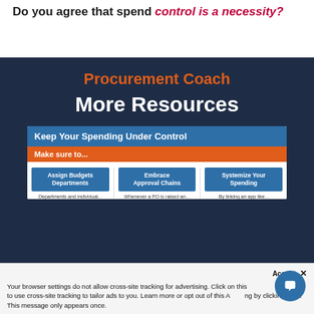Do you agree that spend control is a necessity?
Procurement Coach
More Resources
[Figure (infographic): Infographic titled 'Keep Your Spending Under Control' with a blue header, orange 'Make sure to...' bar, and three blue buttons: 'Assign Budgets Departments', 'Embrace Approval Chains', 'Systemize Your Spending', with partial text below each button.]
Accept × Your browser settings do not allow cross-site tracking for advertising. Click on this ... AdRoll to use cross-site tracking to tailor ads to you. Learn more or opt out of this A... by clicking here. This message only appears once.